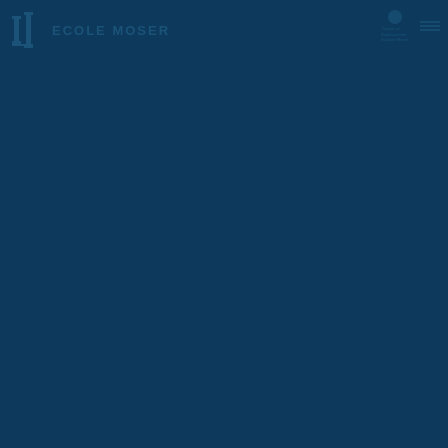[Figure (logo): Ecole Moser school logo with geometric mark and text on dark navy blue background]